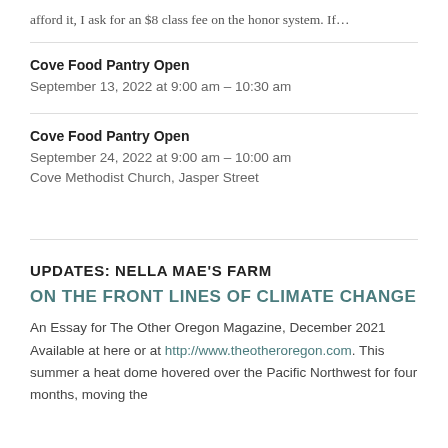afford it, I ask for an $8 class fee on the honor system. If…
Cove Food Pantry Open
September 13, 2022 at 9:00 am – 10:30 am
Cove Food Pantry Open
September 24, 2022 at 9:00 am – 10:00 am
Cove Methodist Church, Jasper Street
UPDATES: NELLA MAE'S FARM
ON THE FRONT LINES OF CLIMATE CHANGE
An Essay for The Other Oregon Magazine, December 2021 Available at here or at http://www.theotheroregon.com. This summer a heat dome hovered over the Pacific Northwest for four months, moving the